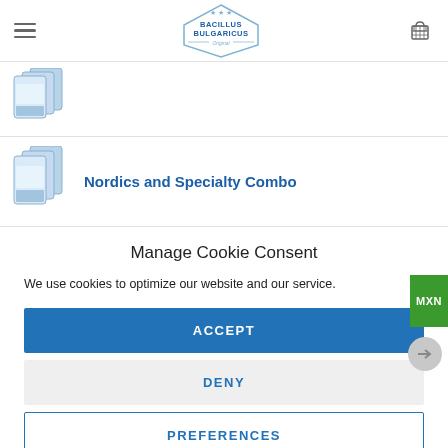Bacillus Bulgaricus — site header with hamburger menu, logo, and cart icon
[Figure (photo): Stacked product packets thumbnail in upper product row]
[Figure (photo): Stacked product packets thumbnail for Nordics and Specialty Combo]
Nordics and Specialty Combo
Manage Cookie Consent
We use cookies to optimize our website and our service.
ACCEPT
DENY
PREFERENCES